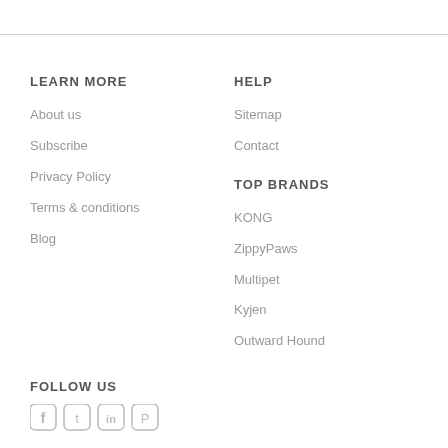LEARN MORE
About us
Subscribe
Privacy Policy
Terms & conditions
Blog
HELP
Sitemap
Contact
TOP BRANDS
KONG
ZippyPaws
Multipet
Kyjen
Outward Hound
FOLLOW US
[Figure (illustration): Social media icons: Facebook, Twitter, LinkedIn, Pinterest]